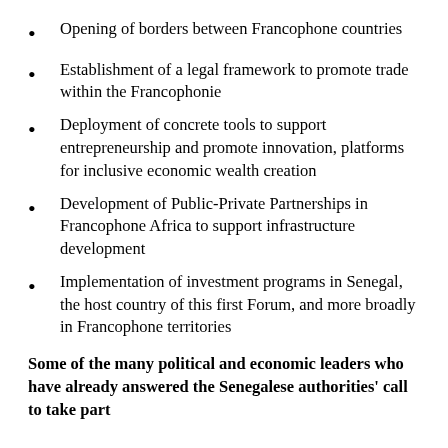Opening of borders between Francophone countries
Establishment of a legal framework to promote trade within the Francophonie
Deployment of concrete tools to support entrepreneurship and promote innovation, platforms for inclusive economic wealth creation
Development of Public-Private Partnerships in Francophone Africa to support infrastructure development
Implementation of investment programs in Senegal, the host country of this first Forum, and more broadly in Francophone territories
Some of the many political and economic leaders who have already answered the Senegalese authorities' call to take part